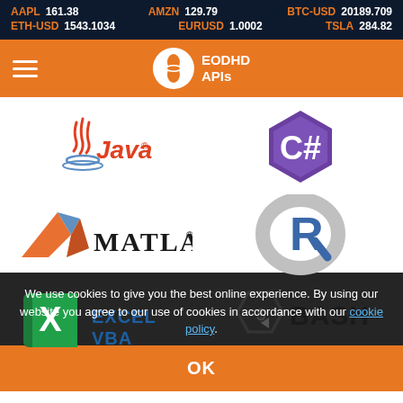AAPL 161.38   AMZN 129.79   BTC-USD 20189.709   ETH-USD 1543.1034   EURUSD 1.0002   TSLA 284.82
[Figure (logo): EODHD APIs navigation bar with hamburger menu and orange logo icon]
[Figure (logo): Java programming language logo]
[Figure (logo): C# programming language logo (purple hexagon)]
[Figure (logo): MATLAB logo with orange/blue triangle and MATLAB text]
[Figure (logo): R programming language logo (grey circle with blue R)]
[Figure (logo): Excel VBA logo (green X icon with EXCEL VBA text)]
[Figure (logo): Bash shell logo (hexagon with $ icon and BASH text)]
We use cookies to give you the best online experience. By using our website you agree to our use of cookies in accordance with our cookie policy.
OK